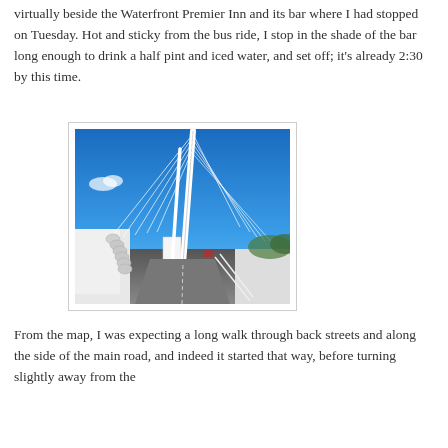virtually beside the Waterfront Premier Inn and its bar where I had stopped on Tuesday. Hot and sticky from the bus ride, I stop in the shade of the bar long enough to drink a half pint and iced water, and set off; it's already 2:30 by this time.
[Figure (photo): A white cable-stayed pedestrian bridge with a tall angled pylon and multiple cable stays, photographed from the bridge deck looking toward the pylon against a clear blue sky.]
From the map, I was expecting a long walk through back streets and along the side of the main road, and indeed it started that way, before turning slightly away from the